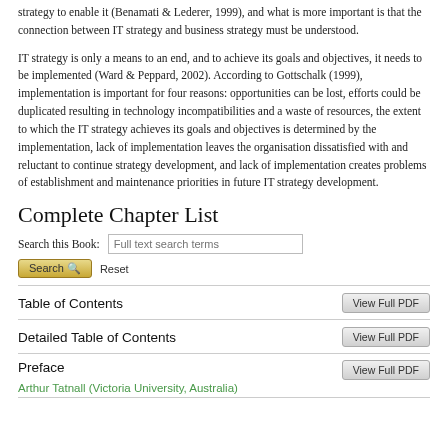strategy to enable it (Benamati & Lederer, 1999), and what is more important is that the connection between IT strategy and business strategy must be understood.
IT strategy is only a means to an end, and to achieve its goals and objectives, it needs to be implemented (Ward & Peppard, 2002). According to Gottschalk (1999), implementation is important for four reasons: opportunities can be lost, efforts could be duplicated resulting in technology incompatibilities and a waste of resources, the extent to which the IT strategy achieves its goals and objectives is determined by the implementation, lack of implementation leaves the organisation dissatisfied with and reluctant to continue strategy development, and lack of implementation creates problems of establishment and maintenance priorities in future IT strategy development.
Complete Chapter List
Search this Book: [Full text search terms] Search Reset
|  |  |
| --- | --- |
| Table of Contents | View Full PDF |
| Detailed Table of Contents | View Full PDF |
| Preface | View Full PDF |
Arthur Tatnall (Victoria University, Australia)